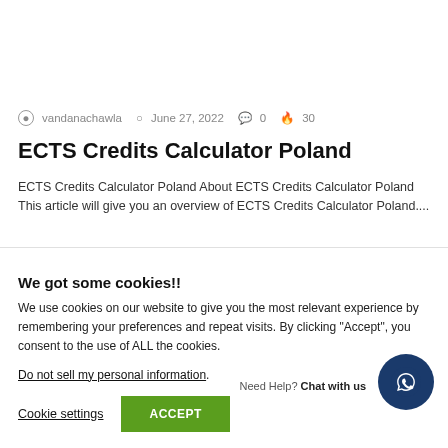vandanachawla  June 27, 2022  0  30
ECTS Credits Calculator Poland
ECTS Credits Calculator Poland About ECTS Credits Calculator Poland This article will give you an overview of ECTS Credits Calculator Poland....
We got some cookies!!
We use cookies on our website to give you the most relevant experience by remembering your preferences and repeat visits. By clicking "Accept", you consent to the use of ALL the cookies.
Do not sell my personal information.
Cookie settings    ACCEPT